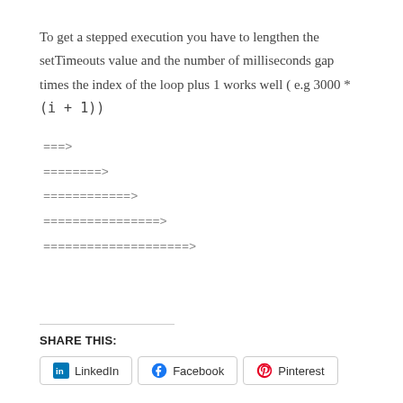To get a stepped execution you have to lengthen the setTimeouts value and the number of milliseconds gap times the index of the loop plus 1 works well ( e.g 3000 * (i + 1))
===>
========>
============>
================>
====================>
SHARE THIS:
LinkedIn   Facebook   Pinterest